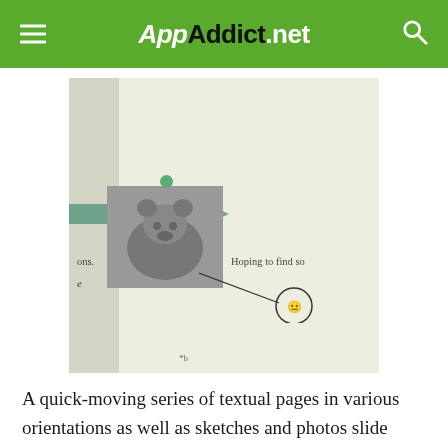AppAddict.net
[Figure (screenshot): Screenshot of a mobile app showing a page with a bear photo, a green arrow pointing right, a green dot, a line with a circle containing an emoji, and partial text 'ons.' and 'Hoping to find so']
A quick-moving series of textual pages in various orientations as well as sketches and photos slide across the screen of a mobile device as it is rotated around, set